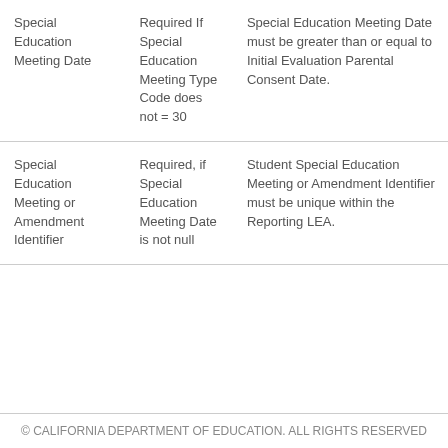| Special Education Meeting Date | Required If Special Education Meeting Type Code does not = 30 | Special Education Meeting Date must be greater than or equal to Initial Evaluation Parental Consent Date. |
| Special Education Meeting or Amendment Identifier | Required, if Special Education Meeting Date is not null | Student Special Education Meeting or Amendment Identifier must be unique within the Reporting LEA. |
© CALIFORNIA DEPARTMENT OF EDUCATION. ALL RIGHTS RESERVED